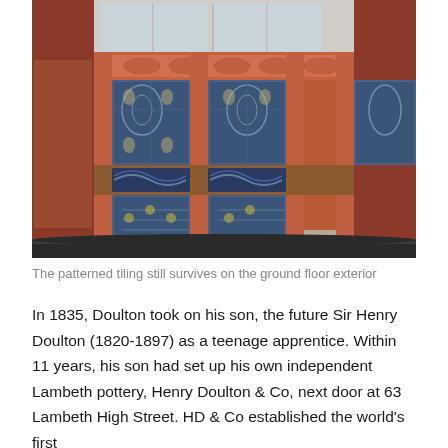[Figure (photo): Photograph of decorative patterned terracotta and blue ceramic tiling on the ground floor exterior of a building. The tiles feature ornate floral and geometric patterns in blue and white set within terracotta frames, with a dark stone base at the bottom and white window frames visible at the top.]
The patterned tiling still survives on the ground floor exterior
In 1835, Doulton took on his son, the future Sir Henry Doulton (1820-1897) as a teenage apprentice. Within 11 years, his son had set up his own independent Lambeth pottery, Henry Doulton & Co, next door at 63 Lambeth High Street. HD & Co established the world's first